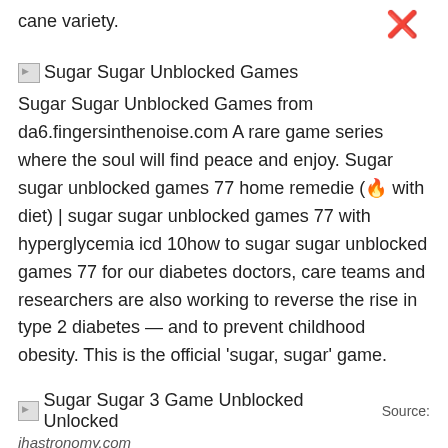cane variety.
[Figure (other): Close/cancel button icon (circle with X)]
[Figure (other): Broken image placeholder icon for Sugar Sugar Unblocked Games]
Sugar Sugar Unblocked Games
Sugar Sugar Unblocked Games from da6.fingersinthenoise.com A rare game series where the soul will find peace and enjoy. Sugar sugar unblocked games 77 home remedie (🔥 with diet) | sugar sugar unblocked games 77 with hyperglycemia icd 10how to sugar sugar unblocked games 77 for our diabetes doctors, care teams and researchers are also working to reverse the rise in type 2 diabetes — and to prevent childhood obesity. This is the official 'sugar, sugar' game.
[Figure (other): Broken image placeholder icon for Sugar Sugar 3 Game Unblocked Unlocked]
Sugar Sugar 3 Game Unblocked Unlocked
Source:
jhastronomy.com
Sugar sugar unblocked games 77 home remedie (🔥 with diet) | sugar sugar unblocked games 77 with hyperglycemia icd 10how to sugar sugar unblocked games 77 for our diabetes doctors,